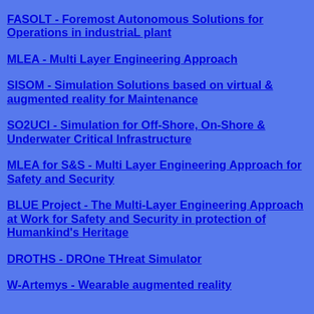FASOLT - Foremost Autonomous Solutions for Operations in industriaL plant
MLEA - Multi Layer Engineering Approach
SISOM - Simulation Solutions based on virtual & augmented reality for Maintenance
SO2UCI - Simulation for Off-Shore, On-Shore & Underwater Critical Infrastructure
MLEA for S&S - Multi Layer Engineering Approach for Safety and Security
BLUE Project - The Multi-Layer Engineering Approach at Work for Safety and Security in protection of Humankind's Heritage
DROTHS - DROne THreat Simulator
W-Artemys - Wearable augmented reality